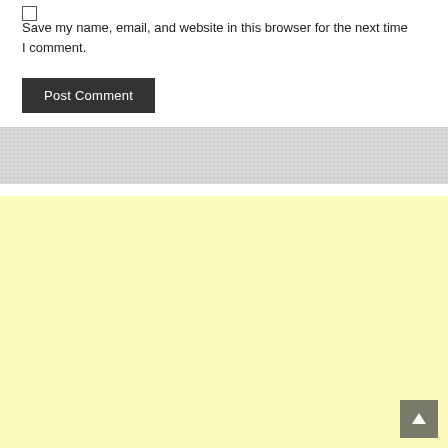Save my name, email, and website in this browser for the next time I comment.
Post Comment
[Figure (other): Gray textured divider section]
[Figure (other): Yellow advertisement placeholder area with back-to-top arrow button in bottom right corner]